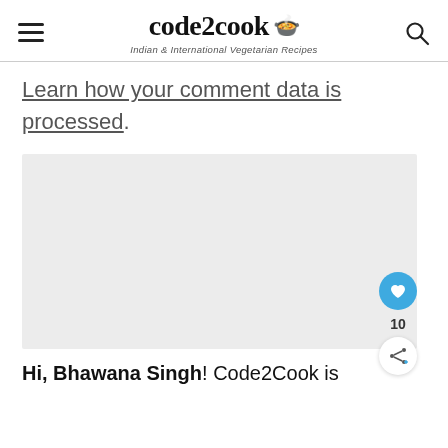code2cook — Indian & International Vegetarian Recipes
Learn how your comment data is processed.
[Figure (other): Grey placeholder advertisement or image box]
Hi, Bhawana Singh! Code2Cook is